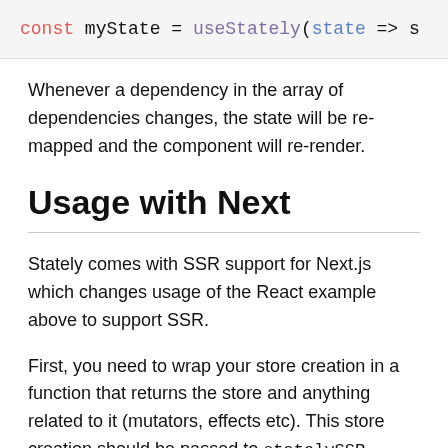[Figure (screenshot): Code snippet showing: const myState = useStately(state => s]
Whenever a dependency in the array of dependencies changes, the state will be re-mapped and the component will re-render.
Usage with Next
Stately comes with SSR support for Next.js which changes usage of the React example above to support SSR.
First, you need to wrap your store creation in a function that returns the store and anything related to it (mutators, effects etc). This store creation should be passed to statelySSR, which returns